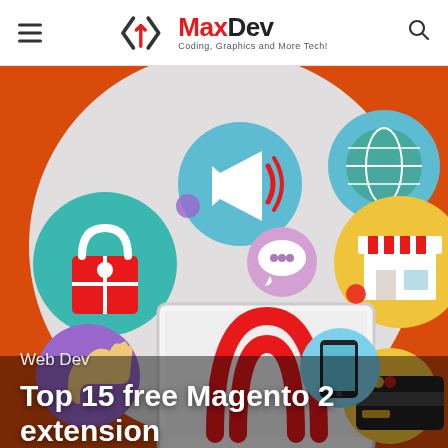MaxDev — Coding, Graphics and More Tech!
[Figure (illustration): Hero image showing the Magento logo on a laptop screen surrounded by e-commerce icons (shopping bag, megaphone, globe, chat bubble, store, thumbs up, credit card, smartphone) on an orange background with a large grey circle]
Web Dev
Top 15 free Magento 2 extension